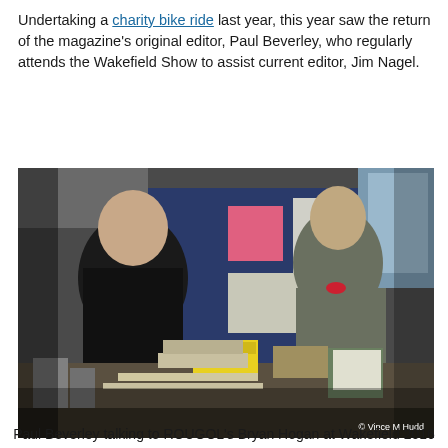Undertaking a charity bike ride last year, this year saw the return of the magazine's original editor, Paul Beverley, who regularly attends the Wakefield Show to assist current editor, Jim Nagel.
[Figure (photo): Two men standing at a display table inside a hall. The man on the left wears a dark jacket and faces right; the man on the right wears a grey fleece and holds papers. A blue pinboard, yellow sign, and various publications are visible on the table. Copyright watermark reads '© Vince M Hudd'.]
Paul Beverley talking to ROUGOL's Bryan Hogan at Wakefield 2016